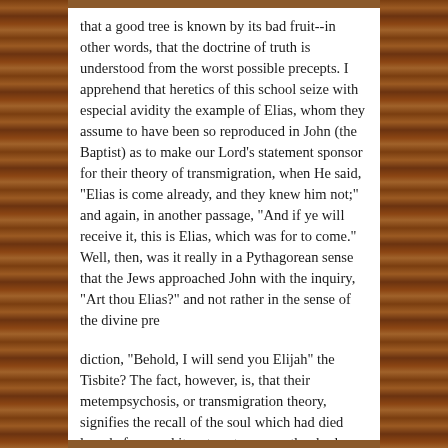that a good tree is known by its bad fruit--in other words, that the doctrine of truth is understood from the worst possible precepts. I apprehend that heretics of this school seize with especial avidity the example of Elias, whom they assume to have been so reproduced in John (the Baptist) as to make our Lord's statement sponsor for their theory of transmigration, when He said, "Elias is come already, and they knew him not;" and again, in another passage, "And if ye will receive it, this is Elias, which was for to come." Well, then, was it really in a Pythagorean sense that the Jews approached John with the inquiry, "Art thou Elias?" and not rather in the sense of the divine pre

diction, "Behold, I will send you Elijah" the Tisbite? The fact, however, is, that their metempsychosis, or transmigration theory, signifies the recall of the soul which had died long before, and its return to some other body. But Elias is to come again, not after quitting life (in the way of dying), but after his translation (or removal without dying); not for the purpose of being restored to the body, from which he had not departed, but for the purpose of revisiting the world from which he was translated; not by way of